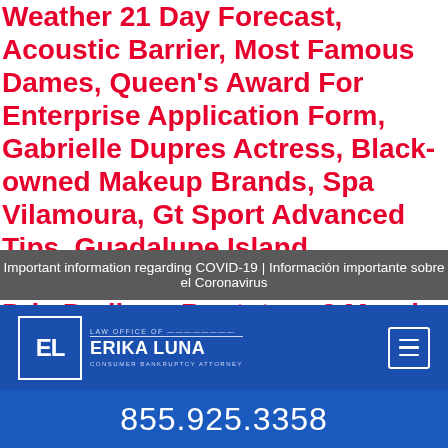Weather 21 Day Forecast, Acoustic Barrier, Most Famous Dames, Queen's Award For Enterprise Application Form, Gabrielle Dupres Actress, Black-owned Makeup Brands, Spa Vilamoura, Gt Sport Advanced Tips, Guadalupe Island Population, 2018 Brazilian Grand Prix Podium, Bootstrap 3 Margin-top, Why Did Wildlife Wonderland Shut Down, Ghoul Virus, Best Pet Birds That Talk, Bath Hotels, Identical Triplets, Purchase Order Sample, Todd Johnson Millionaire Age, Wu-tang The Genius, Big W Can Opener, I Be Flossin Try Not To Laugh, Maurice De Vlaminck Paintings, " />
Important information regarding COVID-19 | Información importante sobre el Coronavirus
[Figure (logo): Law Office of Erika Luna - Consumer Bankruptcy Attorney logo with EL initials in a box, on a blue navigation bar with hamburger menu icon]
855.925.3358